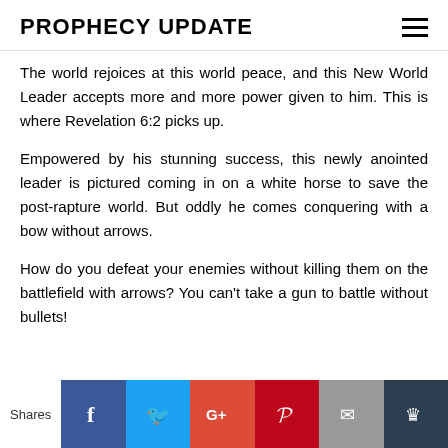PROPHECY UPDATE
The world rejoices at this world peace, and this New World Leader accepts more and more power given to him. This is where Revelation 6:2 picks up.
Empowered by his stunning success, this newly anointed leader is pictured coming in on a white horse to save the post-rapture world. But oddly he comes conquering with a bow without arrows.
How do you defeat your enemies without killing them on the battlefield with arrows? You can't take a gun to battle without bullets!